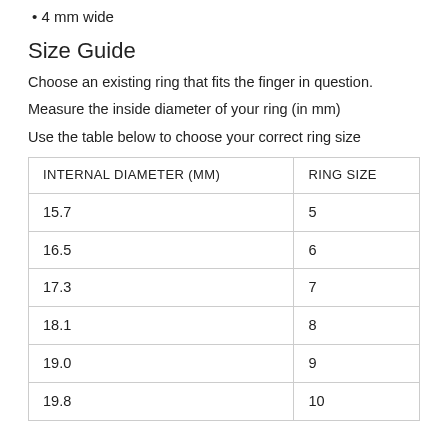4 mm wide
Size Guide
Choose an existing ring that fits the finger in question.
Measure the inside diameter of your ring (in mm)
Use the table below to choose your correct ring size
| INTERNAL DIAMETER (MM) | RING SIZE |
| --- | --- |
| 15.7 | 5 |
| 16.5 | 6 |
| 17.3 | 7 |
| 18.1 | 8 |
| 19.0 | 9 |
| 19.8 | 10 |